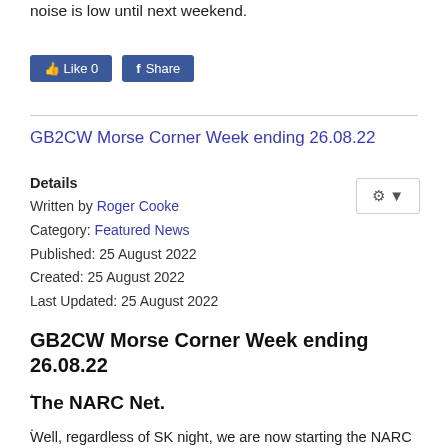noise is low until next weekend.
[Figure (other): Facebook Like and Share buttons]
GB2CW Morse Corner Week ending 26.08.22
Details
Written by Roger Cooke
Category: Featured News
Published: 25 August 2022
Created: 25 August 2022
Last Updated: 25 August 2022
GB2CW Morse Corner Week ending 26.08.22
.
The NARC Net.
.
Well, regardless of SK night, we are now starting the NARC Net at 20 wpm. On a paddle, this provides reasonable speed and good Morse to encourage those trying out their skils for the first time, or even those not